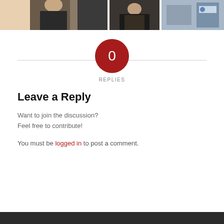[Figure (photo): Two partial photo thumbnails: left shows a man in a dark suit, right shows a man with a beard and a person in a police uniform with badge]
0 REPLIES
Leave a Reply
Want to join the discussion?
Feel free to contribute!
You must be logged in to post a comment.